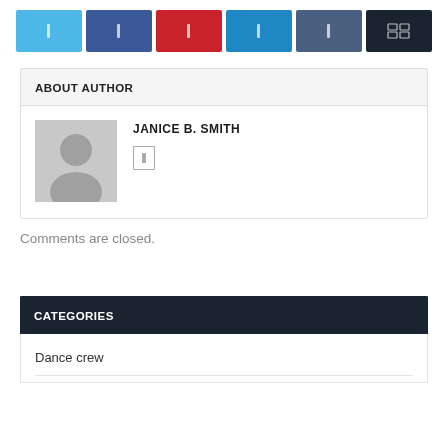[Figure (infographic): Row of 6 social share buttons: Twitter (light blue), Facebook (dark blue), Pinterest (red), LinkedIn (medium blue), Google+ (slate blue), More (dark navy with grid icon)]
ABOUT AUTHOR
[Figure (photo): Generic grey avatar silhouette placeholder image for author Janice B. Smith]
JANICE B. SMITH
[Figure (infographic): Small social icon button (outlined rectangle)]
Comments are closed.
CATEGORIES
Dance crew